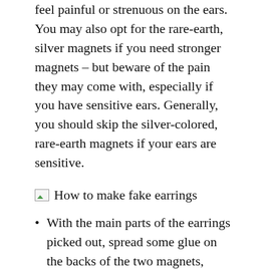feel painful or strenuous on the ears. You may also opt for the rare-earth, silver magnets if you need stronger magnets – but beware of the pain they may come with, especially if you have sensitive ears. Generally, you should skip the silver-colored, rare-earth magnets if your ears are sensitive.
[Figure (photo): Image placeholder with text: How to make fake earrings]
With the main parts of the earrings picked out, spread some glue on the backs of the two magnets, setting aside the other two magnets for later use. Press these two into the glue, with the flat side facing down, the